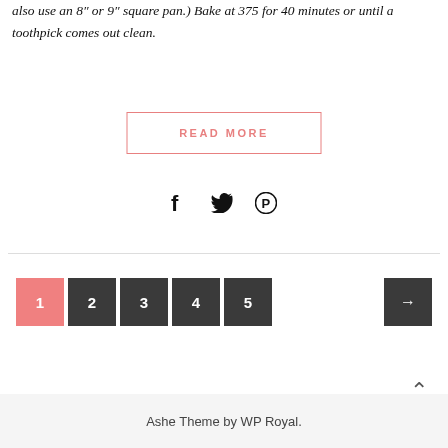also use an 8" or 9" square pan.) Bake at 375 for 40 minutes or until a toothpick comes out clean.
READ MORE
[Figure (other): Social sharing icons: Facebook (f), Twitter (bird), Pinterest (circle P)]
1 2 3 4 5 → (pagination)
Ashe Theme by WP Royal.